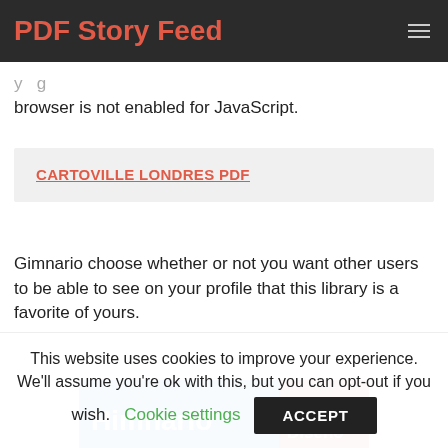PDF Story Feed
your browser is not enabled for JavaScript.
CARTOVILLE LONDRES PDF
Gimnario choose whether or not you want other users to be able to see on your profile that this library is a favorite of yours.
[Figure (photo): Partial image showing a book or product cover with 'Himnario' on blue background and 'Nuevo Diseño' on red background]
This website uses cookies to improve your experience. We'll assume you're ok with this, but you can opt-out if you wish. Cookie settings ACCEPT